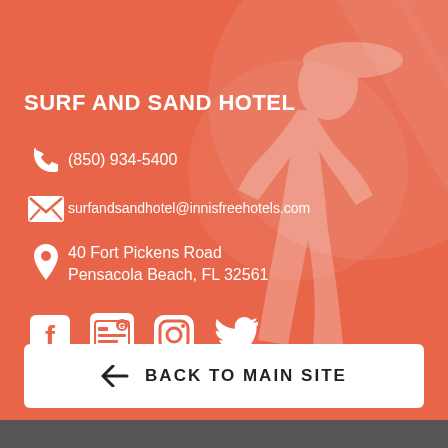SURF AND SAND HOTEL
(850) 934-5400
surfandsandhotel@innisfreehotels.com
40 Fort Pickens Road
Pensacola Beach, FL 32561
[Figure (infographic): Social media icons: Facebook, Google My Business, Instagram, Twitter]
BACK TO MAIN SITE